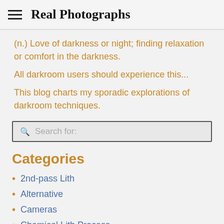Real Photographs
(n.) Love of darkness or night; finding relaxation or comfort in the darkness.
All darkroom users should experience this...
This blog charts my sporadic explorations of darkroom techniques.
Search for:
Categories
2nd-pass Lith
Alternative
Cameras
Chemical Lith Process